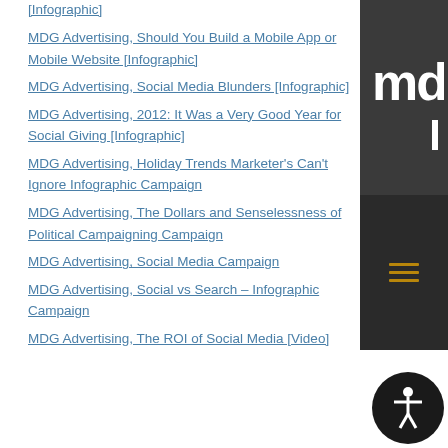[Infographic]
MDG Advertising, Should You Build a Mobile App or Mobile Website [Infographic]
MDG Advertising, Social Media Blunders [Infographic]
MDG Advertising, 2012: It Was a Very Good Year for Social Giving [Infographic]
MDG Advertising, Holiday Trends Marketer's Can't Ignore Infographic Campaign
MDG Advertising, The Dollars and Senselessness of Political Campaigning Campaign
MDG Advertising, Social Media Campaign
MDG Advertising, Social vs Search – Infographic Campaign
MDG Advertising, The ROI of Social Media [Video]
[Figure (logo): MDG logo on dark gray background with hamburger menu icon below]
[Figure (infographic): Accessibility person icon button in dark circle, bottom right corner]